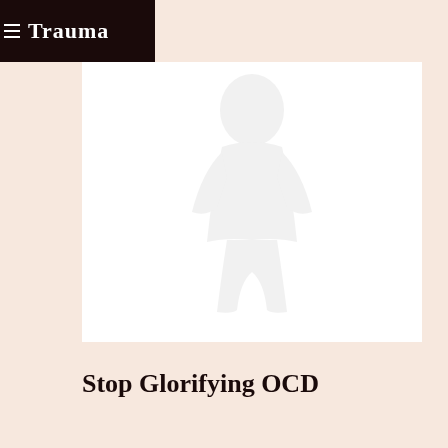Trauma
[Figure (photo): Faint ghost-like silhouette of a person on a white background]
Stop Glorifying OCD